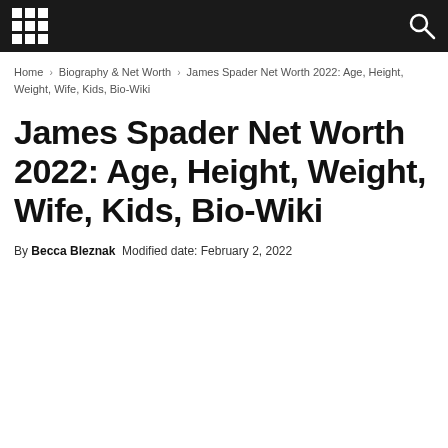Navigation bar with grid menu icon and search icon
Home > Biography & Net Worth > James Spader Net Worth 2022: Age, Height, Weight, Wife, Kids, Bio-Wiki
James Spader Net Worth 2022: Age, Height, Weight, Wife, Kids, Bio-Wiki
By Becca Bleznak  Modified date: February 2, 2022